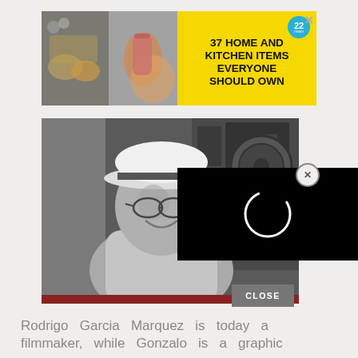[Figure (infographic): Advertisement banner with yellow background showing food/kitchen images on the left and text '37 HOME AND KITCHEN ITEMS EVERYONE SHOULD OWN' on the right with a blue circular badge showing '22' and an X close button]
[Figure (photo): Black and white photo of a man wearing a white striped hat and glasses, smiling, seated, with film equipment visible in the background. A dark video loading overlay with a spinner circle is displayed over the right portion. There is a red/maroon border at the bottom.]
Rodrigo Garcia Marquez is today a filmmaker, while Gonzalo is a graphic